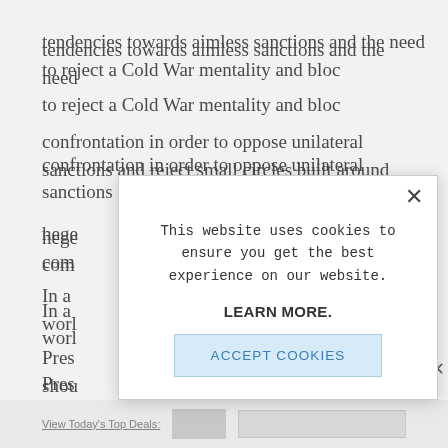tendencies towards aimless sanctions and the need to reject a Cold War mentality and bloc
confrontation in order to oppose unilateral sanctions and reject small circles built around
hege com
In a worl
Pres shou
thei
[Figure (screenshot): Cookie consent modal dialog overlay on a webpage. The modal contains: a close (X) button in the top-right corner, text reading 'This website uses cookies to ensure you get the best experience on our website.', bold text 'LEARN MORE.', and a light blue 'ACCEPT COOKIES' button.]
View Today's Top Deals: